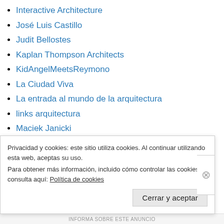Interactive Architecture
José Luis Castillo
Judit Bellostes
Kaplan Thompson Architects
KidAngelMeetsReymono
La Ciudad Viva
La entrada al mundo de la arquitectura
links arquitectura
Maciek Janicki
Madrid Arquitectura
Magaya interior
Privacidad y cookies: este sitio utiliza cookies. Al continuar utilizando esta web, aceptas su uso.
Para obtener más información, incluido cómo controlar las cookies, consulta aquí: Política de cookies
Cerrar y aceptar
INFORMA SOBRE ESTE ANUNCIO